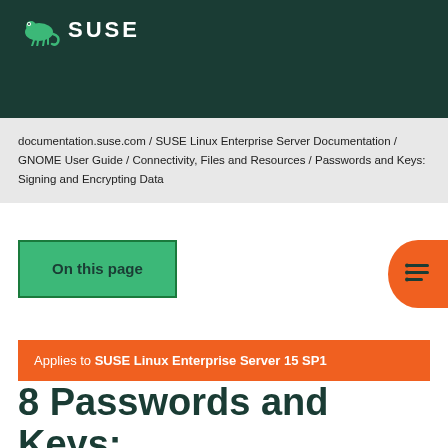SUSE
documentation.suse.com / SUSE Linux Enterprise Server Documentation / GNOME User Guide / Connectivity, Files and Resources / Passwords and Keys: Signing and Encrypting Data
On this page
Applies to SUSE Linux Enterprise Server 15 SP1
8 Passwords and Keys: Signing and Encrypting